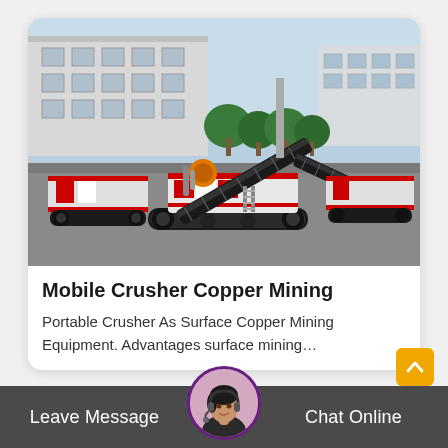[Figure (photo): Photo of a red and black mobile crusher machine on a paved lot, with industrial buildings and trees in the background]
Mobile Crusher Copper Mining
Portable Crusher As Surface Copper Mining Equipment. Advantages surface mining…
[Figure (photo): Customer service representative avatar with headset]
Leave Message
Chat Online